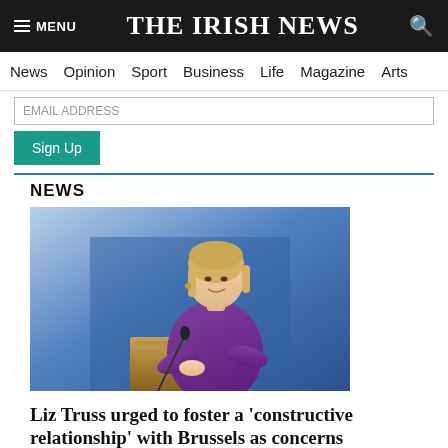THE IRISH NEWS
News  Opinion  Sport  Business  Life  Magazine  Arts
Sign Up
NEWS
[Figure (photo): Woman in purple jacket speaking at a podium with a microphone, against a blue background. Likely Liz Truss.]
Liz Truss urged to foster a 'constructive relationship' with Brussels as concerns